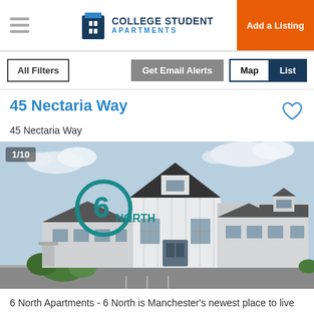College Student Apartments — Add a Listing
All Filters | Get Email Alerts | Map | List
45 Nectaria Way
45 Nectaria Way
[Figure (photo): Exterior photo of 6 North apartment building, a modern white and gray farmhouse-style multi-family building. Photo counter shows 1/10. 6 North logo overlaid in upper left.]
6 North Apartments - 6 North is Manchester's newest place to live in the most convenient location. Hospitals, schools,